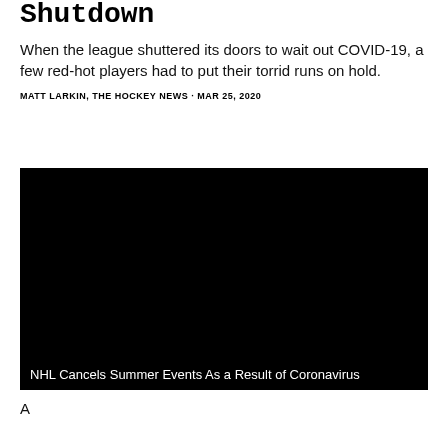Shutdown
When the league shuttered its doors to wait out COVID-19, a few red-hot players had to put their torrid runs on hold.
MATT LARKIN, THE HOCKEY NEWS · MAR 25, 2020
[Figure (photo): Black video frame with caption: NHL Cancels Summer Events As a Result of Coronavirus]
NHL Cancels Summer Events As a Result of Coronavirus
A